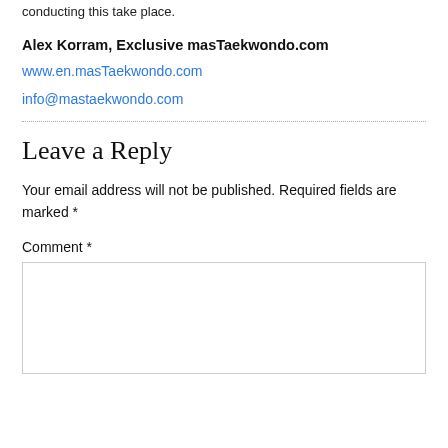conducting this take place.
Alex Korram, Exclusive masTaekwondo.com
www.en.masTaekwondo.com
info@mastaekwondo.com
Leave a Reply
Your email address will not be published. Required fields are marked *
Comment *